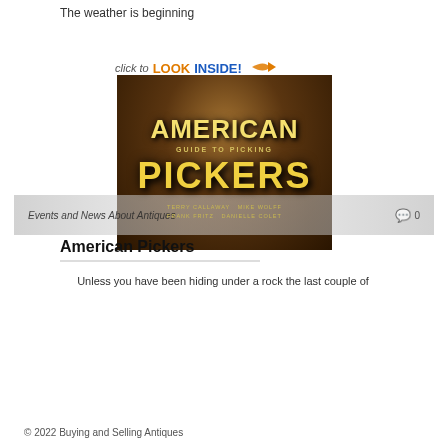The weather is beginning
[Figure (screenshot): Book cover for 'American Pickers Guide to Picking' with a 'Click to LOOK INSIDE!' banner. Two men appear on the cover with cast names listed below.]
Events and News About Antiques
0
American Pickers
Unless you have been hiding under a rock the last couple of
© 2022 Buying and Selling Antiques